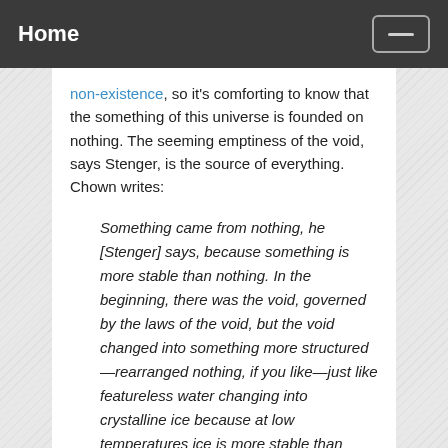Home
non-existence, so it's comforting to know that the something of this universe is founded on nothing. The seeming emptiness of the void, says Stenger, is the source of everything. Chown writes:
Something came from nothing, he [Stenger] says, because something is more stable than nothing. In the beginning, there was the void, governed by the laws of the void, but the void changed into something more structured—rearranged nothing, if you like—just like featureless water changing into crystalline ice because at low temperatures ice is more stable than water.
It's nice to know that something is more stable than nothing. Hopefully this means that the something I am